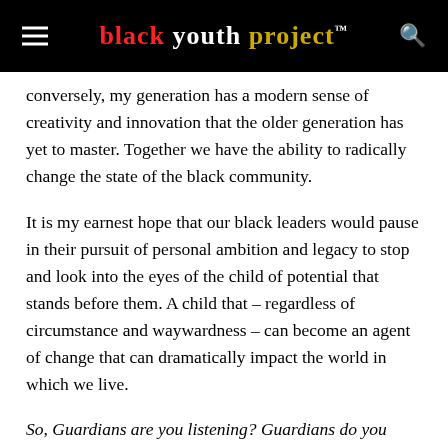black youth project™
conversely, my generation has a modern sense of creativity and innovation that the older generation has yet to master. Together we have the ability to radically change the state of the black community.
It is my earnest hope that our black leaders would pause in their pursuit of personal ambition and legacy to stop and look into the eyes of the child of potential that stands before them. A child that – regardless of circumstance and waywardness – can become an agent of change that can dramatically impact the world in which we live.
So, Guardians are you listening? Guardians do you see? Your children...